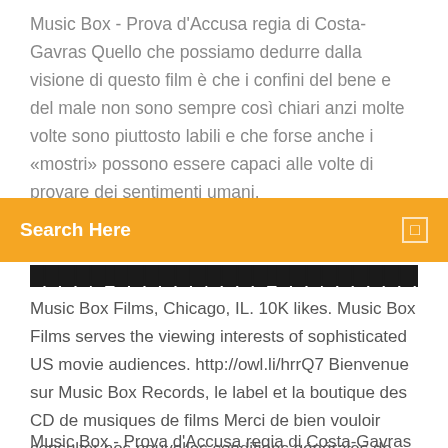Music Box - Prova d'Accusa regia di Costa-Gavras Quello che possiamo dedurre dalla visione di questo film è che i confini del bene e del male non sono sempre così chiari anzi molte volte sono piuttosto labili e che forse anche i «mostri» possono essere capaci alle volte di provare dei sentimenti umani.
[Figure (screenshot): Orange search bar UI element with text 'Search Here' on left and a small square icon on the right]
█████ ██████████ ████████████ ██ ██
Music Box Films, Chicago, IL. 10K likes. Music Box Films serves the viewing interests of sophisticated US movie audiences. http://owl.li/hrrQ7 Bienvenue sur Music Box Records, le label et la boutique des CD de musiques de films Merci de bien vouloir consulter nos nouvelles conditions générales de vente : Les articles 4 (Prix et disponibilité), 5 (Livraison), 7 (Paiement et Sécurisation), 8 (Annulation d'article prépayé), 9 (Retours) et 11 (Garanties et responsabilité) ont été mis à jour le 23 avril 2020.
Music Box - Prova d'Accusa regia di Costa-Gavras Quello che